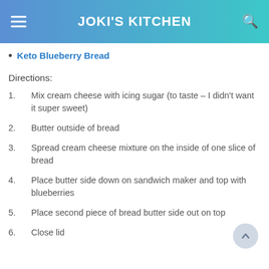JOKI'S KITCHEN
Keto Blueberry Bread
Directions:
Mix cream cheese with icing sugar (to taste – I didn't want it super sweet)
Butter outside of bread
Spread cream cheese mixture on the inside of one slice of bread
Place butter side down on sandwich maker and top with blueberries
Place second piece of bread butter side out on top
Close lid